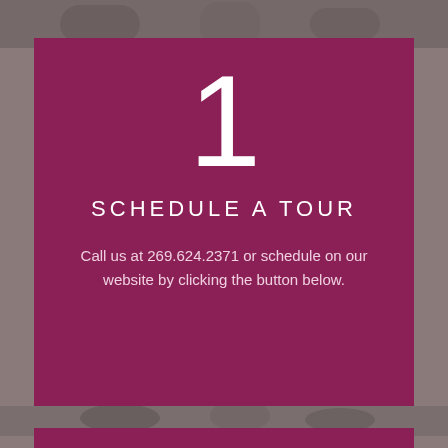[Figure (photo): Grayscale photo of people, top strip background]
1
SCHEDULE A TOUR
Call us at 269.624.2371 or schedule on our website by clicking the button below.
[Figure (photo): Grayscale photo of people, middle strip background]
2